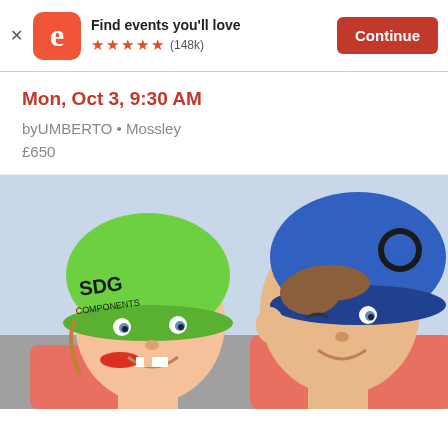Find events you'll love ★★★★★ (148k) Continue
Mon, Oct 3, 9:30 AM
byUMBERTO • Mossley
£650
[Figure (photo): Two young boys wearing bicycle helmets close together, one with a green SDG Components helmet and one with a blue helmet, smiling at the camera]